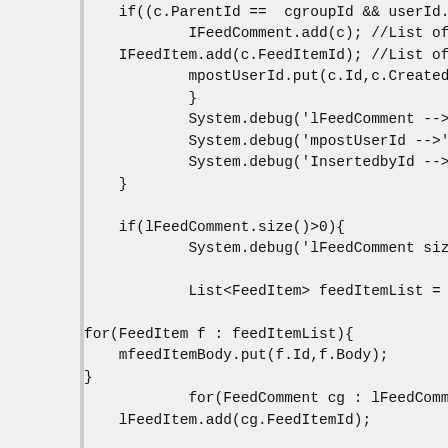if((c.ParentId ==  cgroupId && userId...
            IFeedComment.add(c); //List of a...
    IFeedItem.add(c.FeedItemId); //List of all...
            mpostUserId.put(c.Id,c.CreatedB...
            }
            System.debug('lFeedComment -->' + l...
            System.debug('mpostUserId -->' + mp...
            System.debug('InsertedbyId -->' + c.C...
    }

    if(lFeedComment.size()>0){
            System.debug('lFeedComment size --...

            List<FeedItem> feedItemList = [SELEC...

for(FeedItem f : feedItemList){
    mfeedItemBody.put(f.Id,f.Body);
}
            for(FeedComment cg : lFeedCommen...
    lFeedItem.add(cg.FeedItemId);

                    Ops_Priority_List__c i = new...
                    OwnerId = mpostUser...